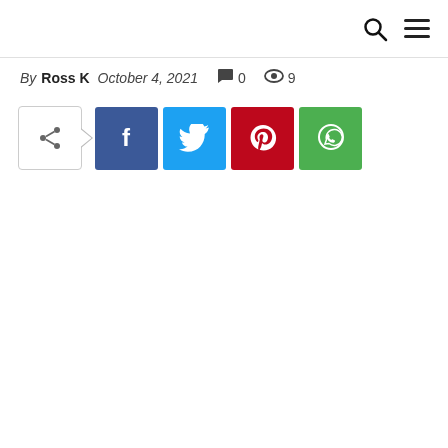Search and Menu icons
By Ross K  October 4, 2021  0  9
[Figure (infographic): Social share buttons row: share toggle arrow, Facebook (blue), Twitter (cyan), Pinterest (red), WhatsApp (green)]